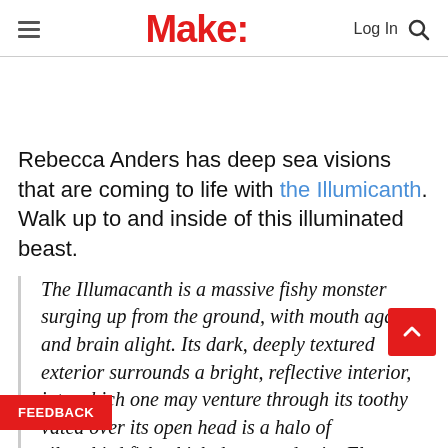Make:
Rebecca Anders has deep sea visions that are coming to life with the Illumicanth. Walk up to and inside of this illuminated beast.
The Illumacanth is a massive fishy monster surging up from the ground, with mouth agape and brain alight. Its dark, deeply textured exterior surrounds a bright, reflective interior, into which one may venture through its toothy [jaw. Elevated over its open head is a halo of silver bird fish which dance and spin. Flame…]